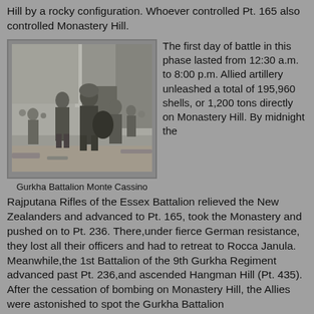Hill by a rocky configuration. Whoever controlled Pt. 165 also controlled Monastery Hill.
[Figure (photo): Black and white photograph of Gurkha soldiers at Monte Cassino, showing several soldiers in military attire walking among ruins.]
Gurkha Battalion Monte Cassino
The first day of battle in this phase lasted from 12:30 a.m. to 8:00 p.m. Allied artillery unleashed a total of 195,960 shells, or 1,200 tons directly on Monastery Hill. By midnight the Rajputana Rifles of the Essex Battalion relieved the New Zealanders and advanced to Pt. 165, took the Monastery and pushed on to Pt. 236. There,under fierce German resistance, they lost all their officers and had to retreat to Rocca Janula. Meanwhile,the 1st Battalion of the 9th Gurkha Regiment advanced past Pt. 236,and ascended Hangman Hill (Pt. 435). After the cessation of bombing on Monastery Hill, the Allies were astonished to spot the Gurkha Battalion